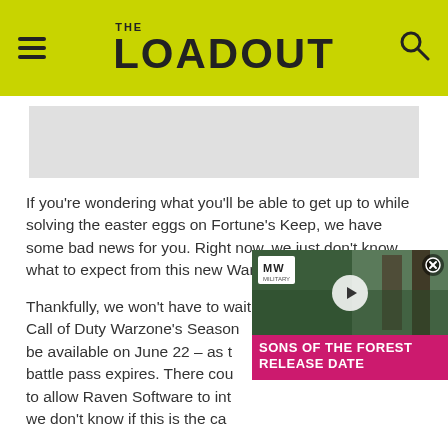THE LOADOUT
[Figure (other): Gray advertisement placeholder banner]
If you're wondering what you'll be able to get up to while solving the easter eggs on Fortune's Keep, we have some bad news for you. Right now, we just don't know what to expect from this new Warzone map.
Thankfully, we won't have to wait long until we find out. Call of Duty Warzone's Season be available on June 22 – as t battle pass expires. There cou to allow Raven Software to int we don't know if this is the ca
[Figure (screenshot): Video widget overlay showing Sons of the Forest Release Date with MW logo and play button]